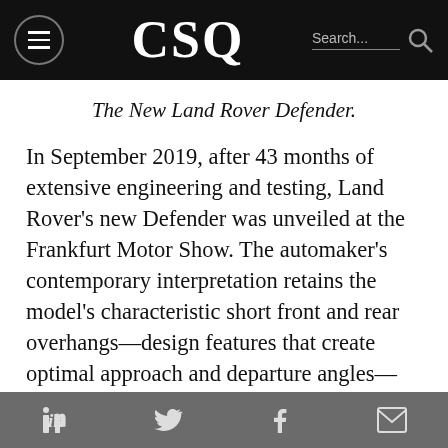CSQ
The New Land Rover Defender.
In September 2019, after 43 months of extensive engineering and testing, Land Rover's new Defender was unveiled at the Frankfurt Motor Show. The automaker's contemporary interpretation retains the model's characteristic short front and rear overhangs—design features that create optimal approach and departure angles—plus a side-hinged rear tailgate and externally mounted spare tire. Those
LinkedIn Twitter Facebook Email